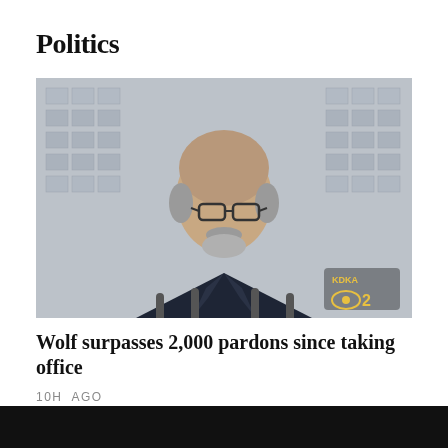Politics
[Figure (photo): A man in a dark suit with a striped tie stands at a podium with microphones, speaking in front of a glass building. A KDKA CBS 2 logo appears in the lower right corner of the image.]
Wolf surpasses 2,000 pardons since taking office
10H AGO